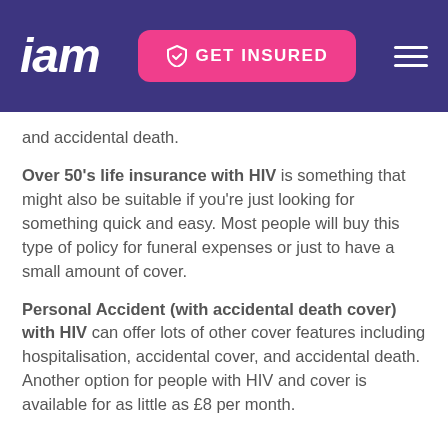iam — GET INSURED
and accidental death.
Over 50's life insurance with HIV is something that might also be suitable if you're just looking for something quick and easy. Most people will buy this type of policy for funeral expenses or just to have a small amount of cover.
Personal Accident (with accidental death cover) with HIV can offer lots of other cover features including hospitalisation, accidental cover, and accidental death. Another option for people with HIV and cover is available for as little as £8 per month.
Best life insurance for HIV